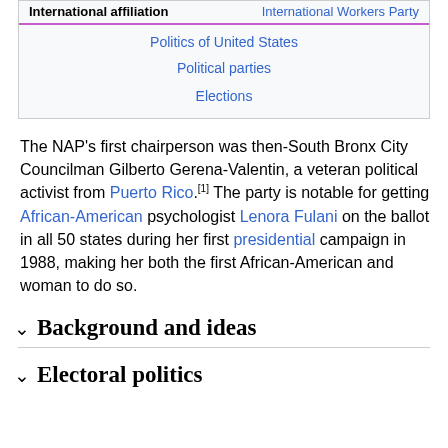| International affiliation | International Workers Party |
| Politics of United States |
| Political parties |
| Elections |
The NAP's first chairperson was then-South Bronx City Councilman Gilberto Gerena-Valentin, a veteran political activist from Puerto Rico.[1] The party is notable for getting African-American psychologist Lenora Fulani on the ballot in all 50 states during her first presidential campaign in 1988, making her both the first African-American and woman to do so.
Background and ideas
Electoral politics